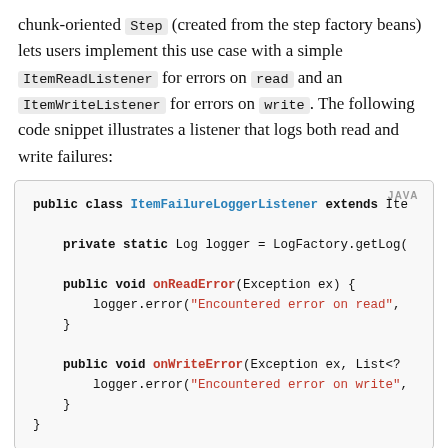chunk-oriented Step (created from the step factory beans) lets users implement this use case with a simple ItemReadListener for errors on read and an ItemWriteListener for errors on write. The following code snippet illustrates a listener that logs both read and write failures:
[Figure (screenshot): Java code snippet showing ItemFailureLoggerListener class extending ItemListenerSupport with onReadError and onWriteError methods logging errors using LogFactory logger.]
Having implemented this listener, it must be registered